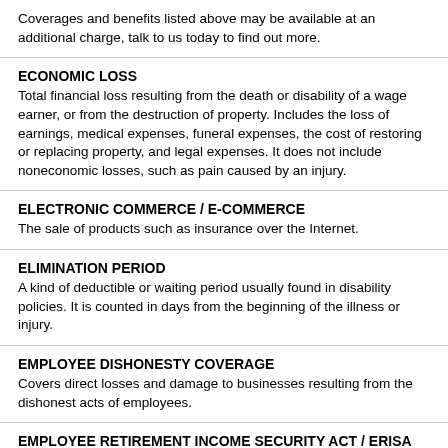Coverages and benefits listed above may be available at an additional charge, talk to us today to find out more.
ECONOMIC LOSS
Total financial loss resulting from the death or disability of a wage earner, or from the destruction of property. Includes the loss of earnings, medical expenses, funeral expenses, the cost of restoring or replacing property, and legal expenses. It does not include noneconomic losses, such as pain caused by an injury.
ELECTRONIC COMMERCE / E-COMMERCE
The sale of products such as insurance over the Internet.
ELIMINATION PERIOD
A kind of deductible or waiting period usually found in disability policies. It is counted in days from the beginning of the illness or injury.
EMPLOYEE DISHONESTY COVERAGE
Covers direct losses and damage to businesses resulting from the dishonest acts of employees.
EMPLOYEE RETIREMENT INCOME SECURITY ACT / ERISA
Federal legislation that protects employees by establishing minimum standards for private pension and welfare plans.
EMPLOYER'S LIABILITY
Part B of the workers compensation policy that provides coverage for